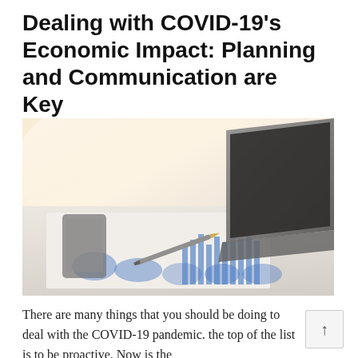Dealing with COVID-19's Economic Impact: Planning and Communication are Key
[Figure (photo): Close-up photo of financial charts on paper with a pen, a smartphone, and a laptop on a desk, lit with warm light]
There are many things that you should be doing to deal with the COVID-19 pandemic. the top of the list is to be proactive. Now is the